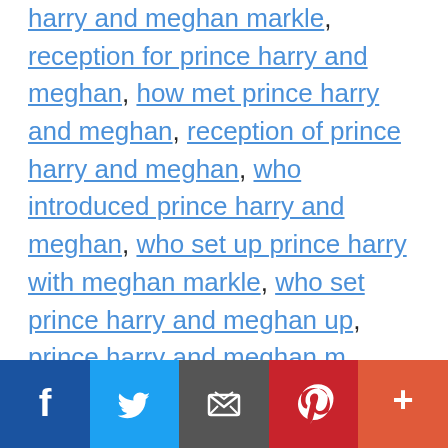harry and meghan markle, reception for prince harry and meghan, how met prince harry and meghan, reception of prince harry and meghan, who introduced prince harry and meghan, who set up prince harry with meghan markle, who set prince harry and meghan up, prince harry and meghan m
[Figure (infographic): Social media sharing bar with Facebook, Twitter, Email, Pinterest, and More buttons]